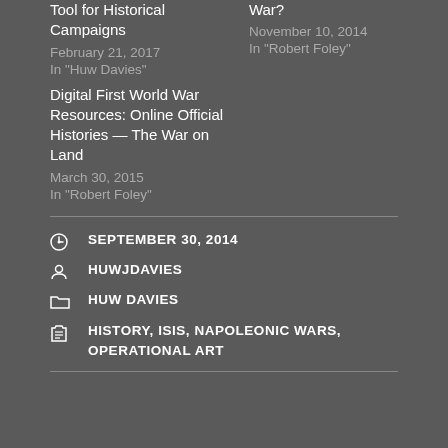Tool for Historical Campaigns
February 21, 2017
In "Huw Davies"
War?
November 10, 2014
In "Robert Foley"
Digital First World War Resources: Online Official Histories — The War on Land
March 30, 2015
In "Robert Foley"
SEPTEMBER 30, 2014
HUWJDAVIES
HUW DAVIES
HISTORY, ISIS, NAPOLEONIC WARS, OPERATIONAL ART